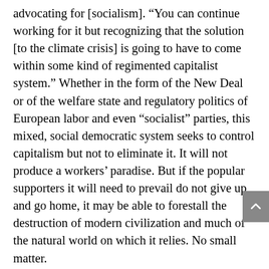advocating for [socialism]. “You can continue working for it but recognizing that the solution [to the climate crisis] is going to have to come within some kind of regimented capitalist system.” Whether in the form of the New Deal or of the welfare state and regulatory politics of European labor and even “socialist” parties, this mixed, social democratic system seeks to control capitalism but not to eliminate it. It will not produce a workers’ paradise. But if the popular supporters it will need to prevail do not give up and go home, it may be able to forestall the destruction of modern civilization and much of the natural world on which it relies. No small matter.
The two questions that provoke Chomsky’s retorts reflect a single, widely distributed frame